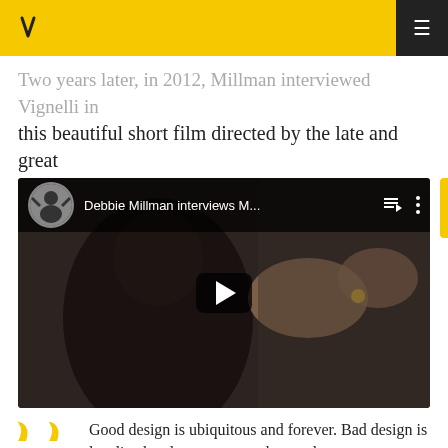Navigation bar with logo and menu
Two years later, in 2012, Millman interviewed Vignelli in this beautiful short film directed by the late and great Hillman Curtis:
[Figure (screenshot): Embedded YouTube video thumbnail showing 'Debbie Millman interviews M...' with a person gesturing with hands in a dark background setting. Video has a play button overlay.]
Good design is ubiquitous and forever. Bad design is localized and temporary, ephemeral.